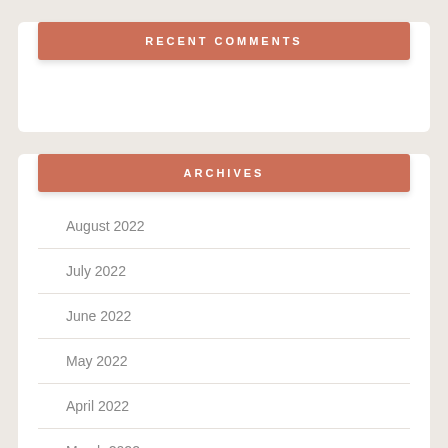RECENT COMMENTS
ARCHIVES
August 2022
July 2022
June 2022
May 2022
April 2022
March 2022